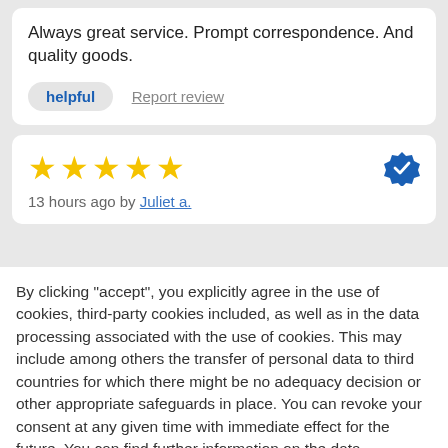Always great service. Prompt correspondence. And quality goods.
helpful   Report review
[Figure (other): Five yellow star rating with blue verified checkmark badge. 13 hours ago by Juliet a.]
By clicking "accept", you explicitly agree in the use of cookies, third-party cookies included, as well as in the data processing associated with the use of cookies. This may include among others the transfer of personal data to third countries for which there might be no adequacy decision or other appropriate safeguards in place. You can revoke your consent at any given time with immediate effect for the future. You can find further information on the data processing purposes, opt-out options, your rights, and the risks of data transfers to third countries here.
ACCEPT